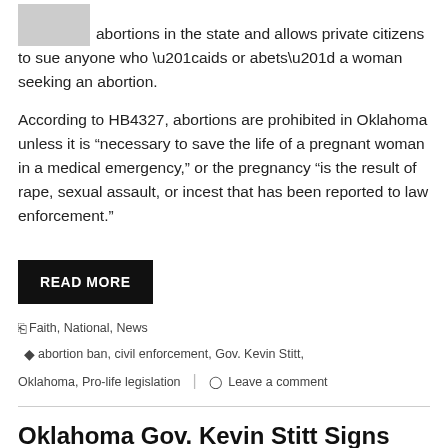abortions in the state and allows private citizens to sue anyone who “aids or abets” a woman seeking an abortion.
According to HB4327, abortions are prohibited in Oklahoma unless it is “necessary to save the life of a pregnant woman in a medical emergency,” or the pregnancy “is the result of rape, sexual assault, or incest that has been reported to law enforcement.”
READ MORE
Faith, National, News   abortion ban, civil enforcement, Gov. Kevin Stitt, Oklahoma, Pro-life legislation   Leave a comment
Oklahoma Gov. Kevin Stitt Signs Bill Requiring Students to Use Restrooms Corresponding to Sex on Birth Certificate
May 27, 2022   Susan Berry, PhD